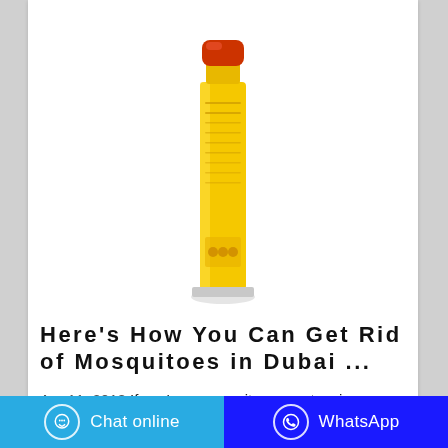[Figure (photo): Yellow aerosol spray can with orange cap, standing upright on a light surface. Product label is yellow with various text and icons.]
Here's How You Can Get Rid of Mosquitoes in Dubai ...
Apr 11, 2018·If you're a mosquito magnet, using repellents that can be found in pharmacies can help despite the not-so-great smell. For those who seek a more radical solution, Boecker® has developed a special Flying Insect Control Programme™ that keeps the mosquito population